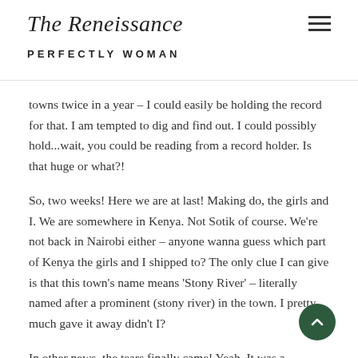The Reneissance PERFECTLY WOMAN
towns twice in a year – I could easily be holding the record for that. I am tempted to dig and find out. I could possibly hold...wait, you could be reading from a record holder. Is that huge or what?!
So, two weeks! Here we are at last! Making do, the girls and I. We are somewhere in Kenya. Not Sotik of course. We're not back in Nairobi either – anyone wanna guess which part of Kenya the girls and I shipped to? The only clue I can give is that this town's name means 'Stony River' – literally named after a prominent (stony river) in the town. I pretty much gave it away didn't I?
In other news, the tears finally came! Yeah. It was a